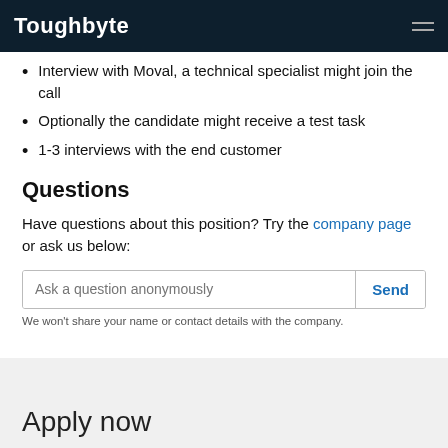Toughbyte
Interview with Moval, a technical specialist might join the call
Optionally the candidate might receive a test task
1-3 interviews with the end customer
Questions
Have questions about this position? Try the company page or ask us below:
Ask a question anonymously
We won't share your name or contact details with the company.
Apply now